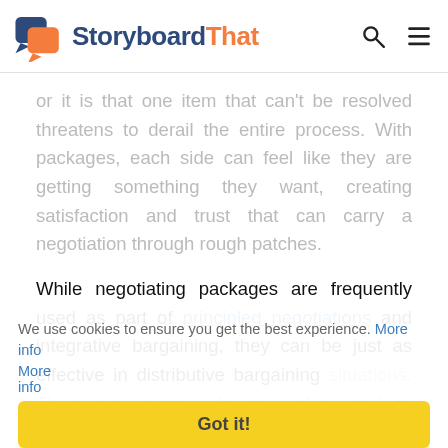StoryboardThat
or it is that one item that can't be resolved threatens to derail the entire process. With packages, each side can feel like they are getting something they want, creating satisfaction and trust that can carry a negotiation through rough patches.
While negotiating packages are frequently used as part of principled negotiations and integrative bargaining, they can be just as effective in distributive bargaining situations. There is no reason why new value needs to be created when negotiating with packages, though integrative bargaining usually isn't possible without them.
We use cookies to ensure you get the best experience. More info
Got it!